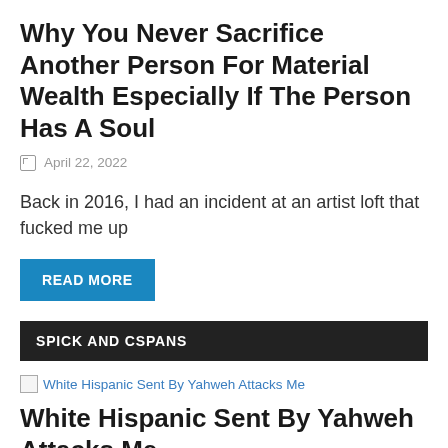Why You Never Sacrifice Another Person For Material Wealth Especially If The Person Has A Soul
April 22, 2022
Back in 2016, I had an incident at an artist loft that fucked me up
READ MORE
SPICK AND CSPANS
[Figure (other): Broken image thumbnail for article: White Hispanic Sent By Yahweh Attacks Me]
White Hispanic Sent By Yahweh Attacks Me
May 7, 2022